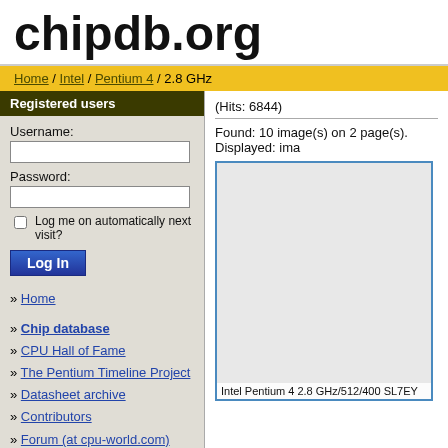chipdb.org
Home / Intel / Pentium 4 / 2.8 GHz
Registered users
Username:
Password:
Log me on automatically next visit?
Log In
» Home
» Chip database
» CPU Hall of Fame
» The Pentium Timeline Project
» Datasheet archive
» Contributors
» Forum (at cpu-world.com)
» About/Contact
» Forgot password
»Show all:
Engineering Samples
Mechanical Samples
(Hits: 6844)
Found: 10 image(s) on 2 page(s). Displayed: ima
Intel Pentium 4 2.8 GHz/512/400 SL7EY